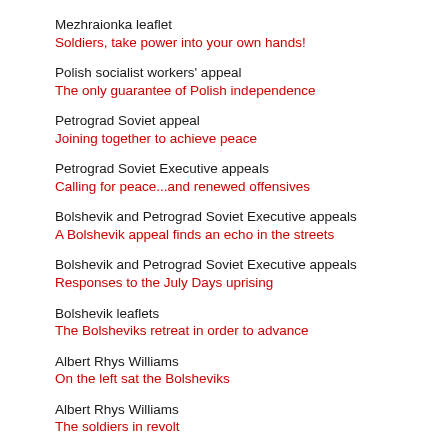Mezhraionka leaflet
Soldiers, take power into your own hands!
Polish socialist workers' appeal
The only guarantee of Polish independence
Petrograd Soviet appeal
Joining together to achieve peace
Petrograd Soviet Executive appeals
Calling for peace...and renewed offensives
Bolshevik and Petrograd Soviet Executive appeals
A Bolshevik appeal finds an echo in the streets
Bolshevik and Petrograd Soviet Executive appeals
Responses to the July Days uprising
Bolshevik leaflets
The Bolsheviks retreat in order to advance
Albert Rhys Williams
On the left sat the Bolsheviks
Albert Rhys Williams
The soldiers in revolt